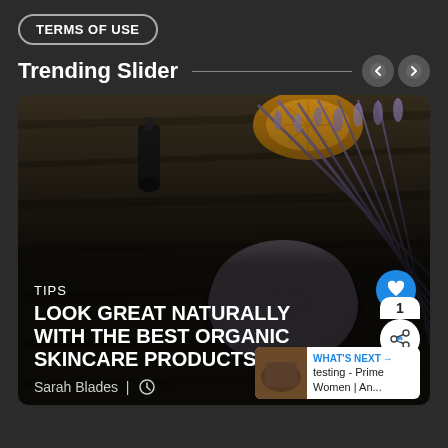TERMS OF USE
Trending Slider
[Figure (screenshot): Trending slider card showing lavender skincare products on wooden background with a bowl of cream and lavender sprigs, essential oil bottle, and orange slice. Overlaid with article metadata.]
TIPS
LOOK GREAT NATURALLY WITH THE BEST ORGANIC SKINCARE PRODUCTS
Sarah Blades | (clock icon)
WHAT'S NEXT → testing - Prime Women | An...